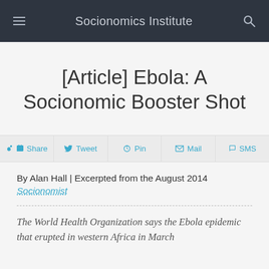Socionomics Institute
[Article] Ebola: A Socionomic Booster Shot
[Figure (infographic): Social share bar with Share, Tweet, Pin, Mail, SMS buttons]
By Alan Hall | Excerpted from the August 2014
Socionomist
The World Health Organization says the Ebola epidemic that erupted in western Africa in March